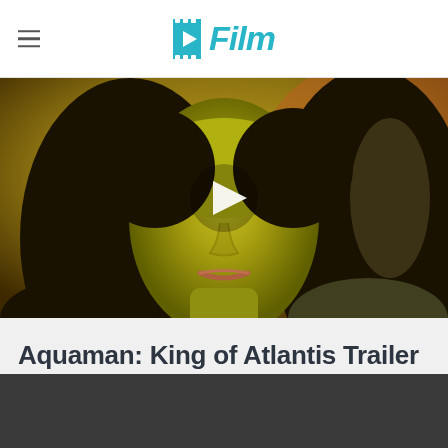/Film
[Figure (screenshot): Video thumbnail showing a green-skinned woman (She-Hulk) with dark hair looking forward, with a white play button triangle overlay in the center. The image has warm orange and green tones.]
Aquaman: King of Atlantis Trailer